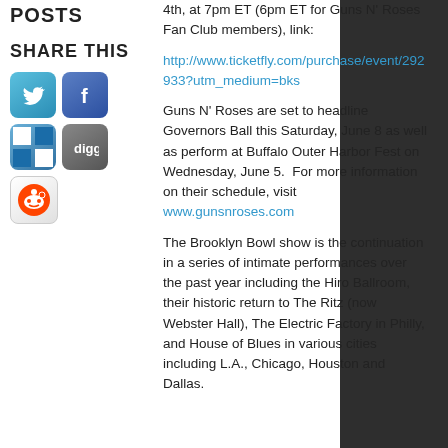POSTS
SHARE THIS
[Figure (illustration): Social media share icons: Twitter (blue bird), Facebook (blue f), Delicious (blue checkerboard), Digg (grey logo), Reddit (alien mascot)]
4th, at 7pm ET (6pm ET for Guns N' Roses Fan Club members), link:
http://www.ticketfly.com/purchase/event/292933?utm_medium=bks
Guns N' Roses are set to headline Governors Ball this Saturday, June 8 as well as perform at Buffalo Outer Harbor Fest on Wednesday, June 5.  For more information on their schedule, visit www.gunsnroses.com
The Brooklyn Bowl show is the continuation in a series of intimate performances over the past year including the Hiro Ballroom, their historic return to The Ritz (now Webster Hall), The Electric Factory in Philly, and House of Blues in various cities including L.A., Chicago, Houston and Dallas.